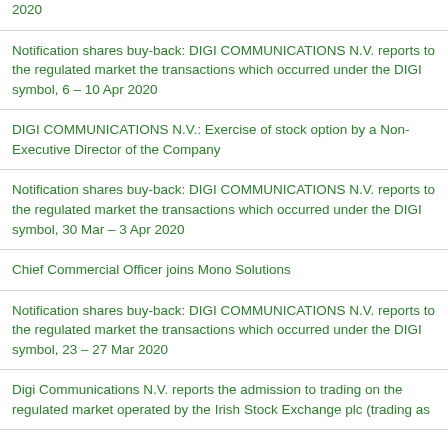2020
Notification shares buy-back: DIGI COMMUNICATIONS N.V. reports to the regulated market the transactions which occurred under the DIGI symbol, 6 – 10 Apr 2020
DIGI COMMUNICATIONS N.V.: Exercise of stock option by a Non-Executive Director of the Company
Notification shares buy-back: DIGI COMMUNICATIONS N.V. reports to the regulated market the transactions which occurred under the DIGI symbol, 30 Mar – 3 Apr 2020
Chief Commercial Officer joins Mono Solutions
Notification shares buy-back: DIGI COMMUNICATIONS N.V. reports to the regulated market the transactions which occurred under the DIGI symbol, 23 – 27 Mar 2020
Digi Communications N.V. reports the admission to trading on the regulated market operated by the Irish Stock Exchange plc (trading as